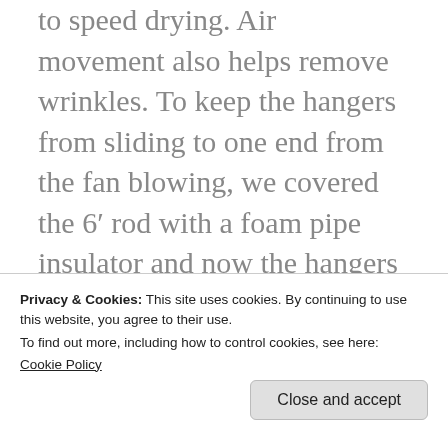to speed drying. Air movement also helps remove wrinkles. To keep the hangers from sliding to one end from the fan blowing, we covered the 6′ rod with a foam pipe insulator and now the hangers stay put.
-I don't use the fast (1,000 rpm) spin cycle on the washer because it sets wrinkles and is designed for use with
hand washables or to line dry so you
Privacy & Cookies: This site uses cookies. By continuing to use this website, you agree to their use.
To find out more, including how to control cookies, see here:
Cookie Policy